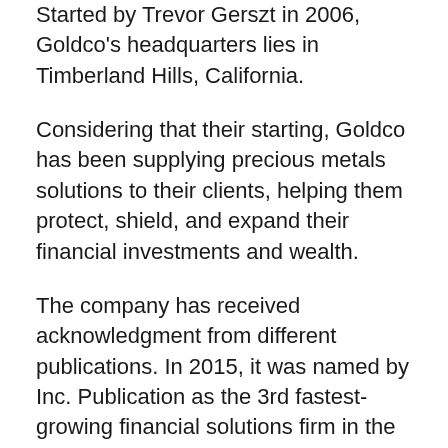Started by Trevor Gerszt in 2006, Goldco's headquarters lies in Timberland Hills, California.
Considering that their starting, Goldco has been supplying precious metals solutions to their clients, helping them protect, shield, and expand their financial investments and wealth.
The company has received acknowledgment from different publications. In 2015, it was named by Inc. Publication as the 3rd fastest-growing financial solutions firm in the U.S.
Additionally, it was also called by the Los Angeles Business Journal as the 17th fastest-growing company in the higher L.A. area.